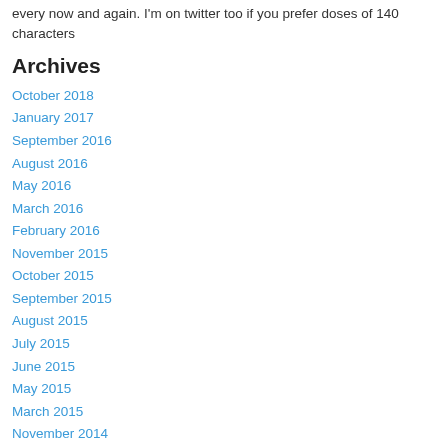every now and again. I'm on twitter too if you prefer doses of 140 characters
Archives
October 2018
January 2017
September 2016
August 2016
May 2016
March 2016
February 2016
November 2015
October 2015
September 2015
August 2015
July 2015
June 2015
May 2015
March 2015
November 2014
October 2014